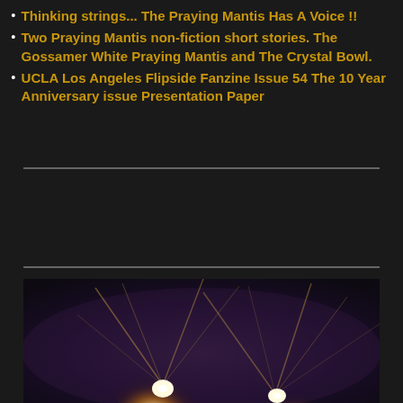Thinking strings... The Praying Mantis Has A Voice !!
Two Praying Mantis non-fiction short stories. The Gossamer White Praying Mantis and The Crystal Bowl.
UCLA Los Angeles Flipside Fanzine Issue 54 The 10 Year Anniversary issue Presentation Paper
[Figure (photo): Dark nighttime photo showing two bright light sources with rays/streaks against a dark purple-black sky background]